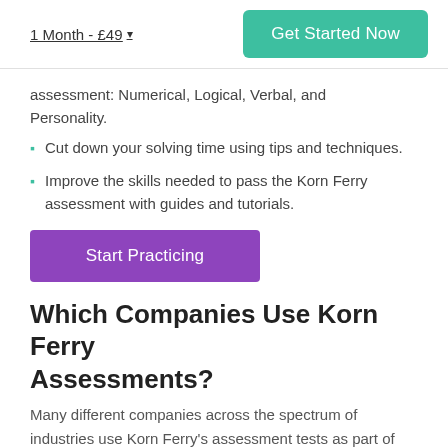1 Month - £49 ▾
Get Started Now
assessment: Numerical, Logical, Verbal, and Personality.
Cut down your solving time using tips and techniques.
Improve the skills needed to pass the Korn Ferry assessment with guides and tutorials.
Start Practicing
Which Companies Use Korn Ferry Assessments?
Many different companies across the spectrum of industries use Korn Ferry's assessment tests as part of